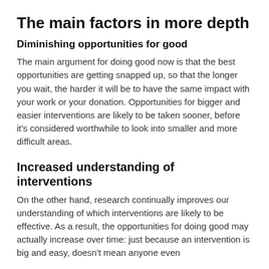The main factors in more depth
Diminishing opportunities for good
The main argument for doing good now is that the best opportunities are getting snapped up, so that the longer you wait, the harder it will be to have the same impact with your work or your donation. Opportunities for bigger and easier interventions are likely to be taken sooner, before it’s considered worthwhile to look into smaller and more difficult areas.
Increased understanding of interventions
On the other hand, research continually improves our understanding of which interventions are likely to be effective. As a result, the opportunities for doing good may actually increase over time: just because an intervention is big and easy, doesn’t mean anyone even